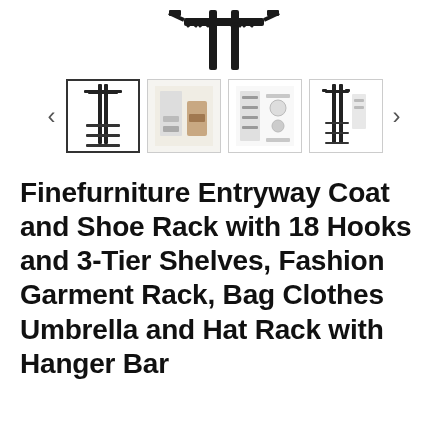[Figure (photo): Partial top view of a coat and shoe rack product image (cropped), showing metal frame top portion]
[Figure (photo): Thumbnail gallery row with navigation arrows. Four product thumbnails: selected main product shot of coat rack, lifestyle image with shoes, detail/parts diagram, side profile of rack.]
Finefurniture Entryway Coat and Shoe Rack with 18 Hooks and 3-Tier Shelves, Fashion Garment Rack, Bag Clothes Umbrella and Hat Rack with Hanger Bar